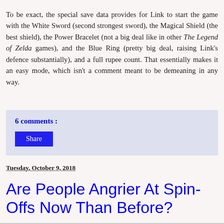To be exact, the special save data provides for Link to start the game with the White Sword (second strongest sword), the Magical Shield (the best shield), the Power Bracelet (not a big deal like in other The Legend of Zelda games), and the Blue Ring (pretty big deal, raising Link's defence substantially), and a full rupee count. That essentially makes it an easy mode, which isn't a comment meant to be demeaning in any way.
6 comments :
Share
Tuesday, October 9, 2018
Are People Angrier At Spin-Offs Now Than Before?